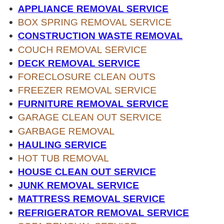APPLIANCE REMOVAL SERVICE
BOX SPRING REMOVAL SERVICE
CONSTRUCTION WASTE REMOVAL
COUCH REMOVAL SERVICE
DECK REMOVAL SERVICE
FORECLOSURE CLEAN OUTS
FREEZER REMOVAL SERVICE
FURNITURE REMOVAL SERVICE
GARAGE CLEAN OUT SERVICE
GARBAGE REMOVAL
HAULING SERVICE
HOT TUB REMOVAL
HOUSE CLEAN OUT SERVICE
JUNK REMOVAL SERVICE
MATTRESS REMOVAL SERVICE
REFRIGERATOR REMOVAL SERVICE
SOFA REMOVAL SERVICE